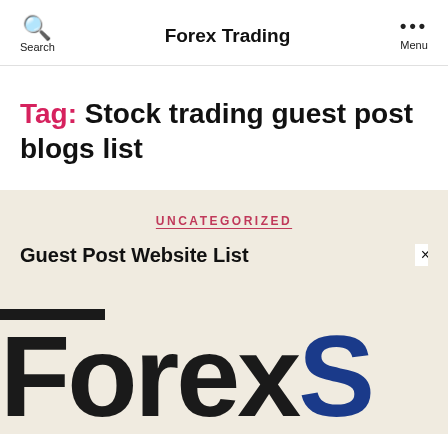Forex Trading | Search | Menu
Tag: Stock trading guest post blogs list
UNCATEGORIZED
Guest Post Website List ×
[Figure (logo): Large partial logo text reading 'ForexS' with 'Forex' in black and 'S' in dark blue, with a black horizontal bar above]